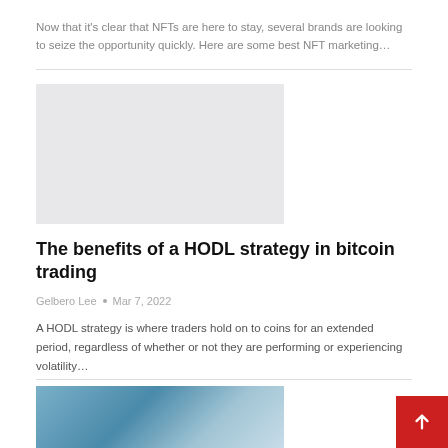Now that it's clear that NFTs are here to stay, several brands are looking to seize the opportunity quickly. Here are some best NFT marketing…
[Figure (photo): Gray placeholder thumbnail image for an article]
The benefits of a HODL strategy in bitcoin trading
Gelbero Lee  •  Mar 7, 2022
A HODL strategy is where traders hold on to coins for an extended period, regardless of whether or not they are performing or experiencing volatility…
[Figure (photo): Partial blue-toned image visible at bottom of page, next article thumbnail]